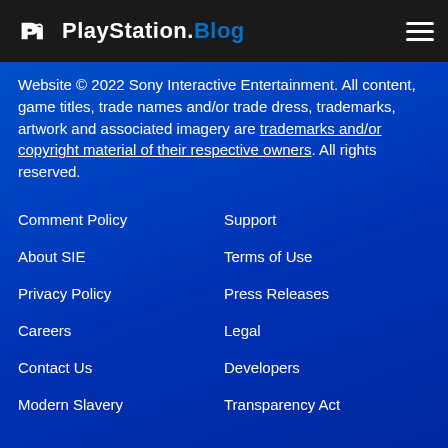PlayStation.Blog
Website © 2022 Sony Interactive Entertainment. All content, game titles, trade names and/or trade dress, trademarks, artwork and associated imagery are trademarks and/or copyright material of their respective owners. All rights reserved.
Comment Policy
Support
About SIE
Terms of Use
Privacy Policy
Press Releases
Careers
Legal
Contact Us
Developers
Modern Slavery
Transparency Act